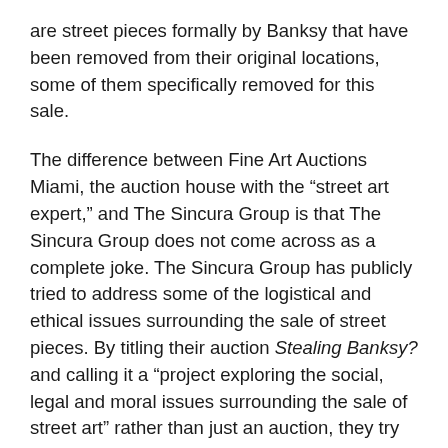are street pieces formally by Banksy that have been removed from their original locations, some of them specifically removed for this sale.
The difference between Fine Art Auctions Miami, the auction house with the “street art expert,” and The Sincura Group is that The Sincura Group does not come across as a complete joke. The Sincura Group has publicly tried to address some of the logistical and ethical issues surrounding the sale of street pieces. By titling their auction Stealing Banksy? and calling it a “project exploring the social, legal and moral issues surrounding the sale of street art” rather than just an auction, they try to position themselves as observers to a phenomenon that they want to see debate about, rather than facilitators and promoters of the ethically questionable market for street pieces. They have released statements about their work, making what they do